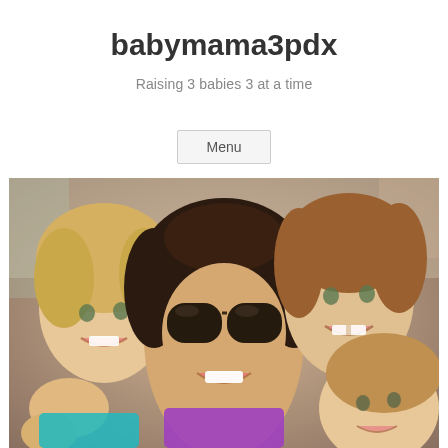babymama3pdx
Raising 3 babies 3 at a time
Menu
[Figure (photo): A woman with large black sunglasses and three young girls smiling for a selfie photo. The woman is wearing a purple top and the children are gathered around her.]